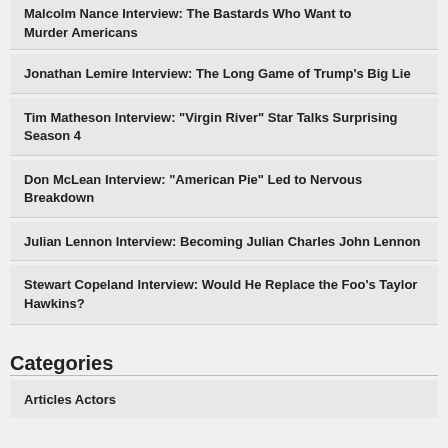Malcolm Nance Interview: The Bastards Who Want to Murder Americans
Jonathan Lemire Interview: The Long Game of Trump's Big Lie
Tim Matheson Interview: "Virgin River" Star Talks Surprising Season 4
Don McLean Interview: "American Pie" Led to Nervous Breakdown
Julian Lennon Interview: Becoming Julian Charles John Lennon
Stewart Copeland Interview: Would He Replace the Foo's Taylor Hawkins?
Categories
Articles Actors